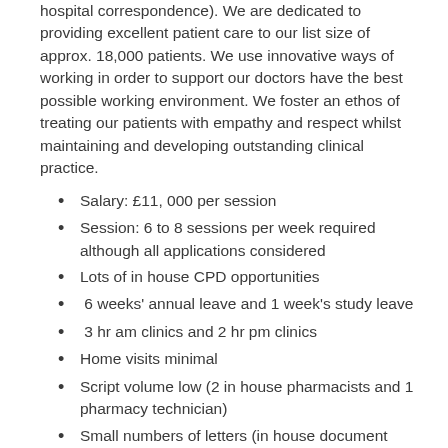hospital correspondence). We are dedicated to providing excellent patient care to our list size of approx. 18,000 patients. We use innovative ways of working in order to support our doctors have the best possible working environment. We foster an ethos of treating our patients with empathy and respect whilst maintaining and developing outstanding clinical practice.
Salary: £11, 000 per session
Session: 6 to 8 sessions per week required although all applications considered
Lots of in house CPD opportunities
6 weeks' annual leave and 1 week's study leave
3 hr am clinics and 2 hr pm clinics
Home visits minimal
Script volume low (2 in house pharmacists and 1 pharmacy technician)
Small numbers of letters (in house document